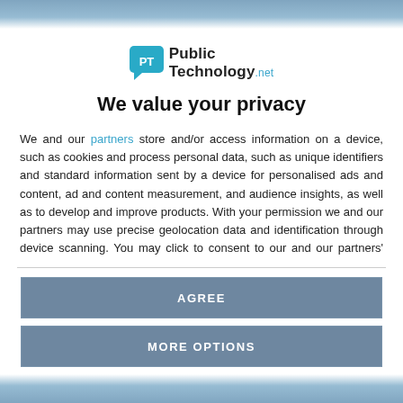[Figure (logo): PublicTechnology.net logo with teal speech bubble icon and PT letters]
We value your privacy
We and our partners store and/or access information on a device, such as cookies and process personal data, such as unique identifiers and standard information sent by a device for personalised ads and content, ad and content measurement, and audience insights, as well as to develop and improve products. With your permission we and our partners may use precise geolocation data and identification through device scanning. You may click to consent to our and our partners' processing as described above. Alternatively you may access more detailed information and change your preferences before consenting or to refuse consenting.
AGREE
MORE OPTIONS